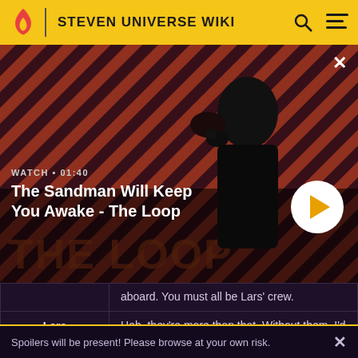STEVEN UNIVERSE WIKI
[Figure (screenshot): Video thumbnail for 'The Sandman Will Keep You Awake - The Loop' with a dark-clad figure and crow on diagonal red/dark striped background. Shows WATCH • 01:40 label and a play button.]
WATCH • 01:40
The Sandman Will Keep You Awake - The Loop
| Speaker | Dialogue |
| --- | --- |
|  | aboard. You must all be Lars' crew. |
| Lars | Heh, they're more than that. Without them, I'd still be stuck in a cave on the Gem Homeworld. They were able to figure out a |
Spoilers will be present! Please browse at your own risk.